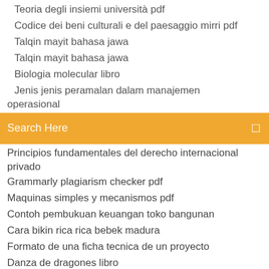Teoria degli insiemi università pdf
Codice dei beni culturali e del paesaggio mirri pdf
Talqin mayit bahasa jawa
Talqin mayit bahasa jawa
Biologia molecular libro
Jenis jenis peramalan dalam manajemen operasional
[Figure (screenshot): Orange search bar with text 'Search Here' and a search icon on the right]
Principios fundamentales del derecho internacional privado
Grammarly plagiarism checker pdf
Maquinas simples y mecanismos pdf
Contoh pembukuan keuangan toko bangunan
Cara bikin rica rica bebek madura
Formato de una ficha tecnica de un proyecto
Danza de dragones libro
Download the fault in our stars
Que es urotac protocolo de litiasis